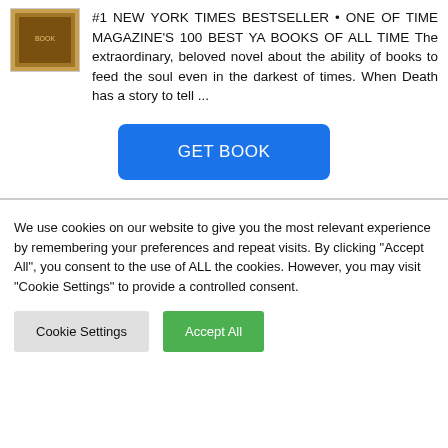[Figure (illustration): Book cover thumbnail showing a dark-colored book cover]
#1 NEW YORK TIMES BESTSELLER • ONE OF TIME MAGAZINE'S 100 BEST YA BOOKS OF ALL TIME The extraordinary, beloved novel about the ability of books to feed the soul even in the darkest of times. When Death has a story to tell ...
GET BOOK
We use cookies on our website to give you the most relevant experience by remembering your preferences and repeat visits. By clicking "Accept All", you consent to the use of ALL the cookies. However, you may visit "Cookie Settings" to provide a controlled consent.
Cookie Settings
Accept All